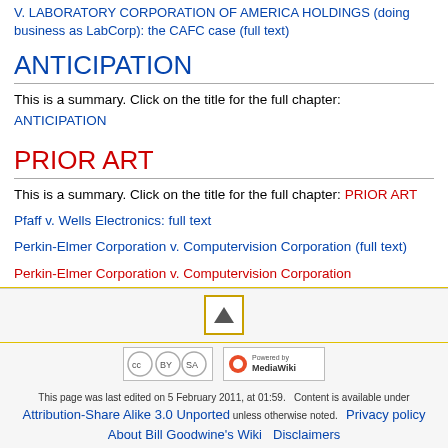V. LABORATORY CORPORATION OF AMERICA HOLDINGS (doing business as LabCorp): the CAFC case (full text)
ANTICIPATION
This is a summary. Click on the title for the full chapter: ANTICIPATION
PRIOR ART
This is a summary. Click on the title for the full chapter: PRIOR ART
Pfaff v. Wells Electronics: full text
Perkin-Elmer Corporation v. Computervision Corporation (full text)
Perkin-Elmer Corporation v. Computervision Corporation
[Figure (other): Scroll to top button with upward triangle arrow]
[Figure (logo): Creative Commons Attribution-Share Alike license badge]
[Figure (logo): Powered by MediaWiki badge]
This page was last edited on 5 February 2011, at 01:59. Content is available under Attribution-Share Alike 3.0 Unported unless otherwise noted. Privacy policy About Bill Goodwine's Wiki Disclaimers